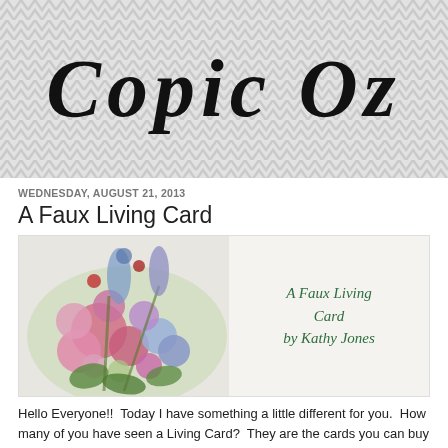[Figure (illustration): Blog header banner with chevron/zigzag pattern background in light gray, featuring the cursive script logo text 'Copic Oz' in large black italic font]
WEDNESDAY, AUGUST 21, 2013
A Faux Living Card
[Figure (illustration): A greeting card image showing colorful painted flowers (hollyhocks/garden flowers in pink, blue, purple) on the left side, with text on the right reading 'A Faux Living Card by Kathy Jones' in dark green italic font on a light background]
Hello Everyone!!  Today I have something a little different for you.  How many of you have seen a Living Card?  They are the cards you can buy at a florist complete with a living plant filling the inside. They give...